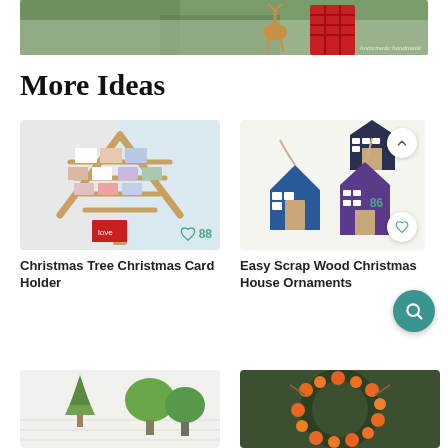[Figure (photo): Top banner photo showing pine branches, a gold deer figurine, and a red metal lantern on a white surface]
More Ideas
[Figure (photo): Christmas tree-shaped wooden card holder displaying holiday photo cards against a white wall with window]
88
Christmas Tree Christmas Card Holder
[Figure (photo): Easy scrap wood Christmas house ornaments in blue and purple with rope hangers on white background]
86
Easy Scrap Wood Christmas House Ornaments
[Figure (photo): Bottom left partial image showing green plants and small trees on a white surface]
[Figure (photo): Bottom right partial image showing orange berry wreath on dark background]